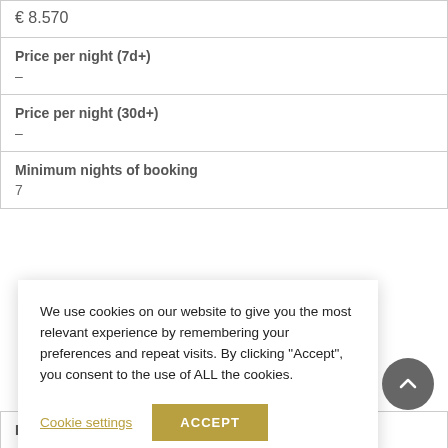| € 8.570 |
| Price per night (7d+) | – |
| Price per night (30d+) | – |
| Minimum nights of booking | 7 |
| Booking starts/ends only on |  |
We use cookies on our website to give you the most relevant experience by remembering your preferences and repeat visits. By clicking "Accept", you consent to the use of ALL the cookies.
Cookie settings
ACCEPT